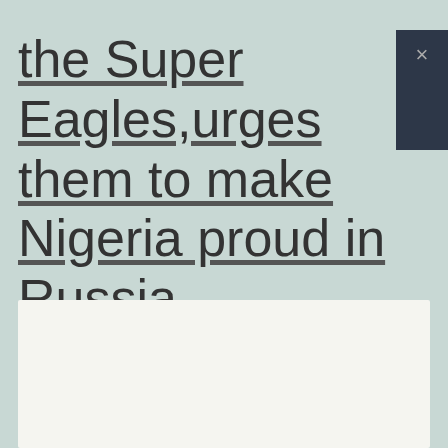the Super Eagles,urges them to make Nigeria proud in Russia
[Figure (other): White/light content box area below the title text]